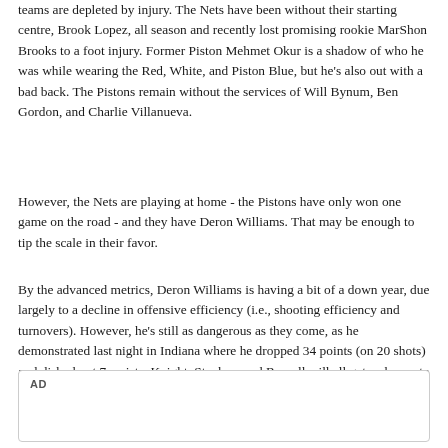teams are depleted by injury. The Nets have been without their starting centre, Brook Lopez, all season and recently lost promising rookie MarShon Brooks to a foot injury. Former Piston Mehmet Okur is a shadow of who he was while wearing the Red, White, and Piston Blue, but he's also out with a bad back. The Pistons remain without the services of Will Bynum, Ben Gordon, and Charlie Villanueva.
However, the Nets are playing at home - the Pistons have only won one game on the road - and they have Deron Williams. That may be enough to tip the scale in their favor.
By the advanced metrics, Deron Williams is having a bit of a down year, due largely to a decline in offensive efficiency (i.e., shooting efficiency and turnovers). However, he's still as dangerous as they come, as he demonstrated last night in Indiana where he dropped 34 points (on 20 shots) and dished out 7 assists. Knight, Stuckey, and Russell will all get a chance to try slowing Williams down, and they'll certainly have their hands full. Pick and roll fer days, if I'm Avery Johnson.
[Figure (other): AD advertisement placeholder box]